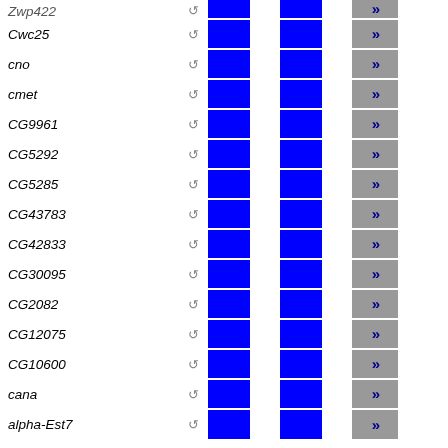| Gene | Icon | Col1 | Gap | Col2 | Gap2 | Arrow |
| --- | --- | --- | --- | --- | --- | --- |
| Cwc25 | ↺ |  |  |  |  | » |
| cno | ↺ |  |  |  |  | » |
| cmet | ↺ |  |  |  |  | » |
| CG9961 | ↺ |  |  |  |  | » |
| CG5292 | ↺ |  |  |  |  | » |
| CG5285 | ↺ |  |  |  |  | » |
| CG43783 | ↺ |  |  |  |  | » |
| CG42833 | ↺ |  |  |  |  | » |
| CG30095 | ↺ |  |  |  |  | » |
| CG2082 | ↺ |  |  |  |  | » |
| CG12075 | ↺ |  |  |  |  | » |
| CG10600 | ↺ |  |  |  |  | » |
| cana | ↺ |  |  |  |  | » |
| alpha-Est7 | ↺ |  |  |  |  | » |